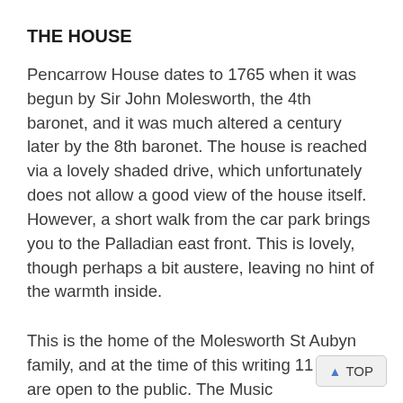THE HOUSE
Pencarrow House dates to 1765 when it was begun by Sir John Molesworth, the 4th baronet, and it was much altered a century later by the 8th baronet. The house is reached via a lovely shaded drive, which unfortunately does not allow a good view of the house itself. However, a short walk from the car park brings you to the Palladian east front. This is lovely, though perhaps a bit austere, leaving no hint of the warmth inside.
This is the home of the Molesworth St Aubyn family, and at the time of this writing 11 rooms are open to the public. The Music Room notable for the piano; it was here that Si